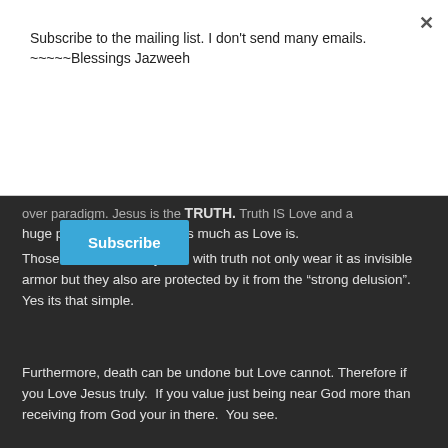Subscribe to the mailing list. I don't send many emails.
~~~~~Blessings Jazweeh
Subscribe
over paradigm. Jesus is the TRUTH. Truth IS Love and a huge part of salvation just as much as Love is.
Those who vehemently side with truth not only wear it as invisible armor but they also are protected by it from the “strong delusion”.  Yes its that simple.
Furthermore, death can be undone but Love cannot. Therefore if you Love Jesus truly.  If you value just being near God more than receiving from God your in there.  You see.